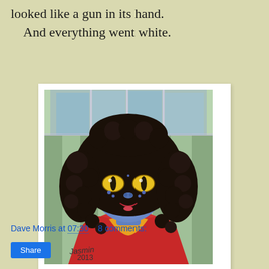looked like a gun in its hand.
    And everything went white.
[Figure (illustration): Fan art illustration of a blue-skinned, cat-eyed female character with curly black hair, yellow eyes, wearing a red outfit with orange-yellow collar, set against a green dome/window background. Signed 'Jasmin 2013'.]
Dave Morris at 07:30    8 comments:
Share